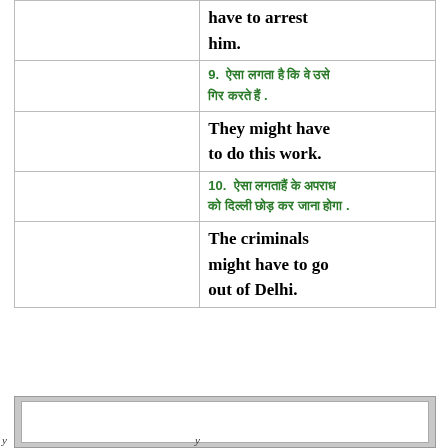|  | have to arrest him. |
|  | 9. [Hindi text] |
|  | They might have to do this work. |
|  | 10. [Hindi text] |
|  | The criminals might have to go out of Delhi. |
[Figure (other): Bottom gray box with white inner area, partial footer section]